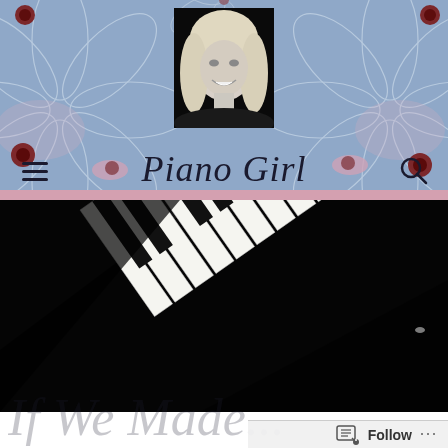[Figure (photo): Website header with light blue floral background, black-and-white profile photo of a smiling blonde woman, site title 'Piano Girl' in italic serif font, hamburger menu icon on left, search icon on right, pink bar at bottom of header]
[Figure (photo): Close-up photograph of piano keys (black and white keys) at a diagonal angle against a dark/black background]
If We Made...
[Figure (screenshot): WordPress Follow button bar at bottom right with follow icon and '...' more options]